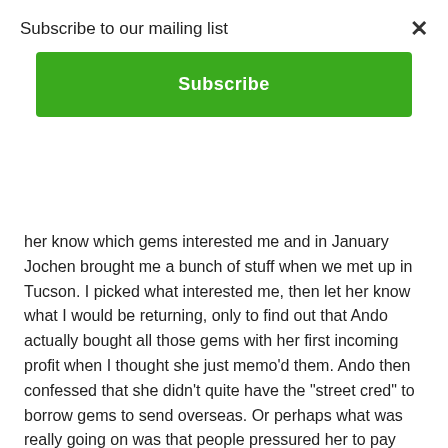Subscribe to our mailing list
Subscribe
her know which gems interested me and in January Jochen brought me a bunch of stuff when we met up in Tucson.  I picked what interested me, then let her know what I would be returning, only to find out that Ando actually bought all those gems with her first incoming profit when I thought she just memo’d them. Ando then confessed that she didn’t quite have the “street cred” to borrow gems to send overseas.  Or perhaps what was really going on was that people pressured her to pay right away because they all need money, so she took the risk and it backfired.  Her profit was gone and she had made a poor purchase that was hard to turn back into money.  Stories like that are typical I’m afraid.
Well, you probably want to know what happened next.  First, I decided was to ask my friend Dudley Blauwet from